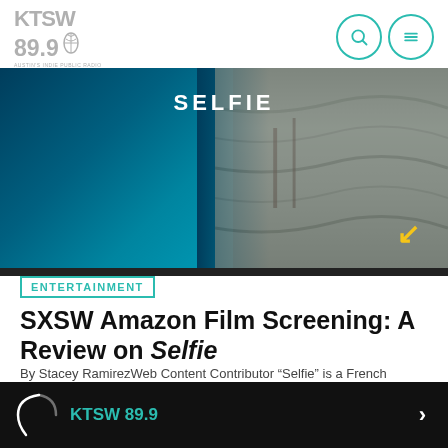KTSW 89.9
[Figure (photo): Movie banner image for 'Selfie' film: left side dark blue/teal background with text 'SELFIE' in white, right side shows outdoor water/nature scene. Yellow arrow icon in bottom right corner.]
ENTERTAINMENT
SXSW Amazon Film Screening: A Review on Selfie
By Stacey RamirezWeb Content Contributor “Selfie” is a French anthology film. With a run time of one hour and 48 minutes, it tells the satiric stories of social media and society and its unhealthy…
MAY 15, 2020  7
KTSW 89.9